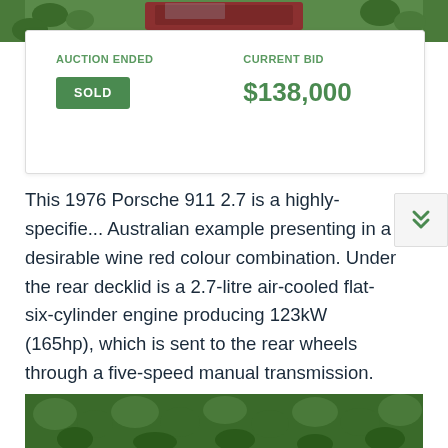[Figure (photo): Top portion of a wine red 1976 Porsche 911 roof visible against green foliage background]
| AUCTION ENDED | CURRENT BID |
| --- | --- |
| SOLD | $138,000 |
This 1976 Porsche 911 2.7 is a highly-specified Australian example presenting in a desirable wine red colour combination. Under the rear decklid is a 2.7-litre air-cooled flat-six-cylinder engine producing 123kW (165hp), which is sent to the rear wheels through a five-speed manual transmission. This example currently displays 190,009km on its odometer.
[Figure (photo): Bottom portion showing green foliage/hedge background]